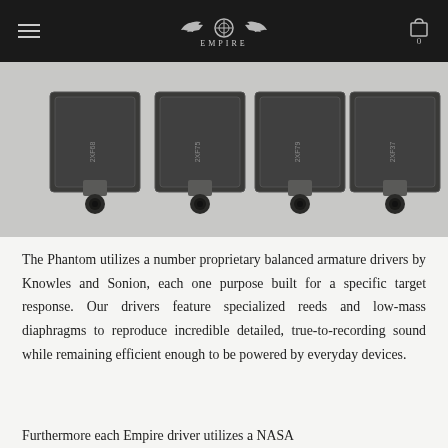EMPIRE
[Figure (photo): Four metallic balanced armature drivers labeled 2XF68, 2XF75, 2XF79, and 2XF37 arranged side by side, showing the front face with connectors.]
The Phantom utilizes a number proprietary balanced armature drivers by Knowles and Sonion, each one purpose built for a specific target response. Our drivers feature specialized reeds and low-mass diaphragms to reproduce incredible detailed, true-to-recording sound while remaining efficient enough to be powered by everyday devices.
Furthermore each Empire driver utilizes a NASA